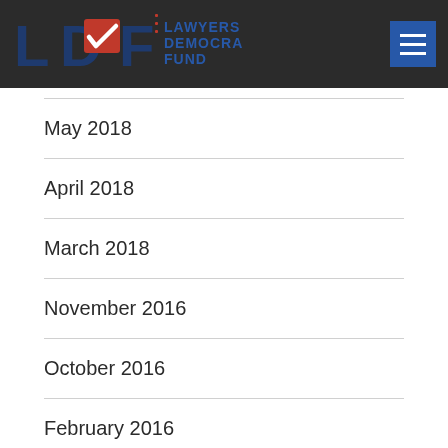[Figure (logo): Lawyers Democracy Fund logo with LDF text and checkmark in red, dark blue background, hamburger menu button top right]
May 2018
April 2018
March 2018
November 2016
October 2016
February 2016